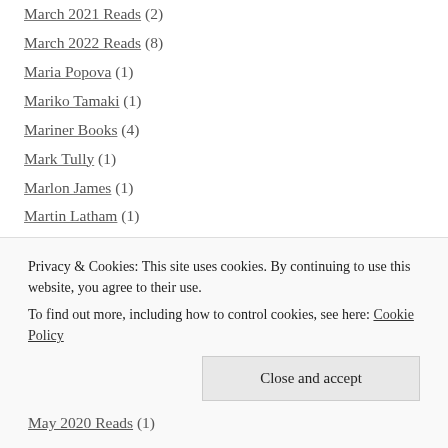March 2021 Reads (2)
March 2022 Reads (8)
Maria Popova (1)
Mariko Tamaki (1)
Mariner Books (4)
Mark Tully (1)
Marlon James (1)
Martin Latham (1)
Mary Oliver (2)
Mathematics (1)
Matt Haig (1)
Matthew Griffin (1)
Privacy & Cookies: This site uses cookies. By continuing to use this website, you agree to their use. To find out more, including how to control cookies, see here: Cookie Policy
May 2020 Reads (1)